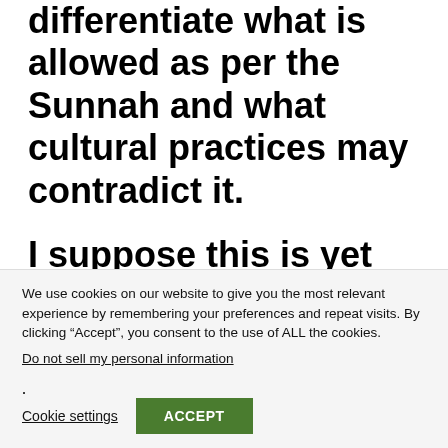there is the further need to differentiate what is allowed as per the Sunnah and what cultural practices may contradict it.
I suppose this is yet another calling to the Muslim community to work towards realigning
We use cookies on our website to give you the most relevant experience by remembering your preferences and repeat visits. By clicking “Accept”, you consent to the use of ALL the cookies.
Do not sell my personal information.
Cookie settings
ACCEPT